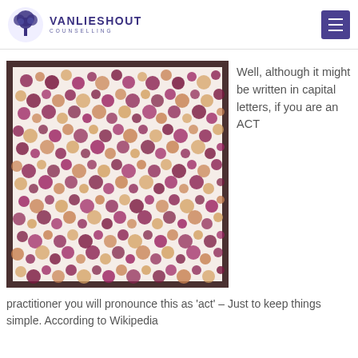VANLIESHOUT COUNSELLING
[Figure (photo): Abstract painting with densely packed circles and dots in shades of purple, burgundy, pink, and golden-yellow on a light background with a dark brown border frame.]
Well, although it might be written in capital letters, if you are an ACT
practitioner you will pronounce this as 'act' – Just to keep things simple.  According to Wikipedia